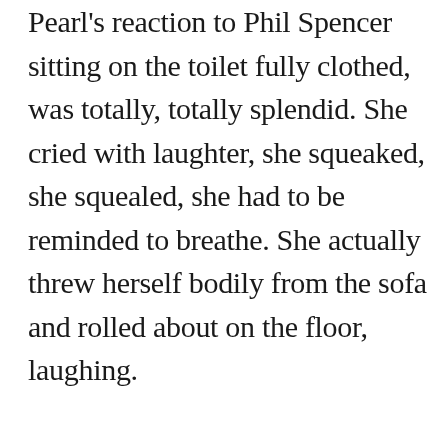Pearl's reaction to Phil Spencer sitting on the toilet fully clothed, was totally, totally splendid. She cried with laughter, she squeaked, she squealed, she had to be reminded to breathe. She actually threw herself bodily from the sofa and rolled about on the floor, laughing.